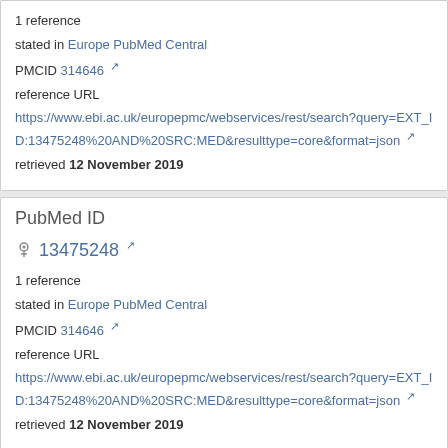1 reference
stated in Europe PubMed Central
PMCID 314646
reference URL
https://www.ebi.ac.uk/europepmc/webservices/rest/search?query=EXT_ID:13475248%20AND%20SRC:MED&resulttype=core&format=json
retrieved 12 November 2019
PubMed ID
13475248
1 reference
stated in Europe PubMed Central
PMCID 314646
reference URL
https://www.ebi.ac.uk/europepmc/webservices/rest/search?query=EXT_ID:13475248%20AND%20SRC:MED&resulttype=core&format=json
retrieved 12 November 2019